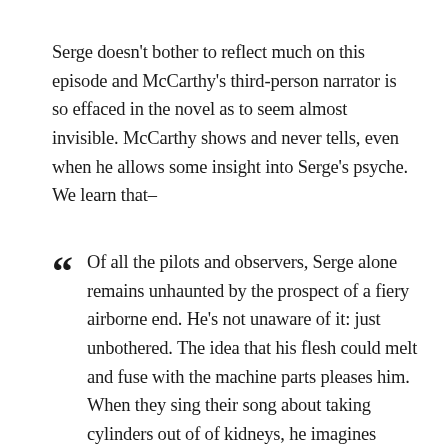Serge doesn't bother to reflect much on this episode and McCarthy's third-person narrator is so effaced in the novel as to seem almost invisible. McCarthy shows and never tells, even when he allows some insight into Serge's psyche. We learn that–
Of all the pilots and observers, Serge alone remains unhaunted by the prospect of a fiery airborne end. He's not unaware of it: just unbothered. The idea that his flesh could melt and fuse with the machine parts pleases him. When they sing their song about taking cylinders out of of kidneys, he imagines